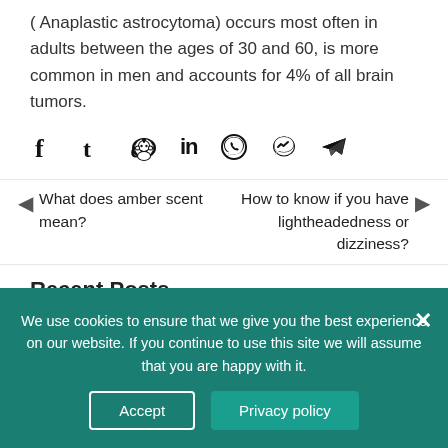( Anaplastic astrocytoma) occurs most often in adults between the ages of 30 and 60, is more common in men and accounts for 4% of all brain tumors.
[Figure (other): Social sharing icons: Facebook, Tumblr, Reddit, LinkedIn, WhatsApp, Messenger, Telegram]
◄ What does amber scent mean?
How to know if you have lightheadedness or dizziness? ►
Recent Posts
We use cookies to ensure that we give you the best experience on our website. If you continue to use this site we will assume that you are happy with it.
Accept   Privacy policy